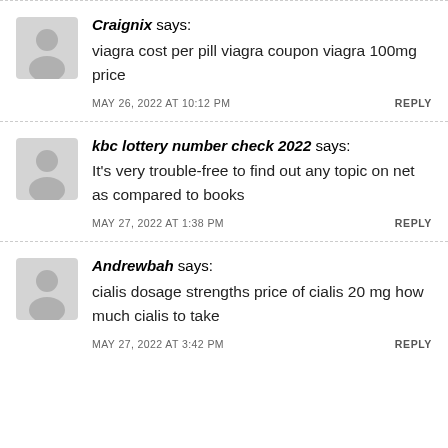Craignix says: viagra cost per pill viagra coupon viagra 100mg price — MAY 26, 2022 AT 10:12 PM — REPLY
kbc lottery number check 2022 says: It's very trouble-free to find out any topic on net as compared to books — MAY 27, 2022 AT 1:38 PM — REPLY
Andrewbah says: cialis dosage strengths price of cialis 20 mg how much cialis to take — MAY 27, 2022 AT 3:42 PM — REPLY